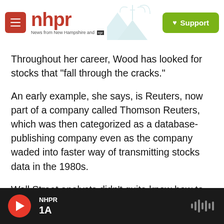nhpr — News from New Hampshire and NPR — Support
Throughout her career, Wood has looked for stocks that "fall through the cracks."
An early example, she says, is Reuters, now part of a company called Thomson Reuters, which was then categorized as a database-publishing company even as the company waded into faster way of transmitting stocks data in the 1980s.
Wall Street analysts didn't quite know how to categorize Reuters, but Wood says she did.
"I raised my hand and said, 'I want that. That seems
NHPR 1A